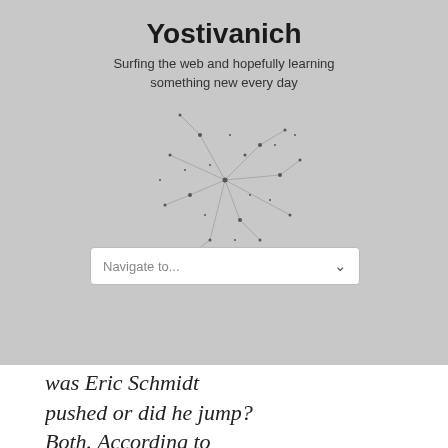Yostivanich
Surfing the web and hopefully learning something new every day
[Figure (illustration): Abstract network graph with nodes and connecting lines, overlaid on the gray header background]
Navigate to...
was Eric Schmidt pushed or did he jump? Both. According to close advisors, the Google C.E.O. was upset a year ago when co-founder Larry Page sided with his founding partner, Sergey Brin, to withdraw censored searches from China. Schmidt did not